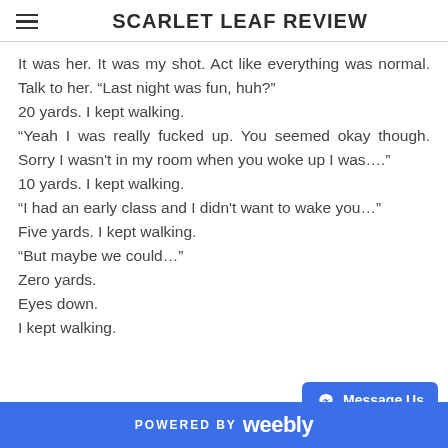SCARLET LEAF REVIEW
It was her. It was my shot. Act like everything was normal. Talk to her. “Last night was fun, huh?"
20 yards. I kept walking.
“Yeah I was really fucked up. You seemed okay though. Sorry I wasn't in my room when you woke up I was…."
10 yards. I kept walking.
“I had an early class and I didn't want to wake you…"
Five yards. I kept walking.
“But maybe we could…"
Zero yards.
Eyes down.
I kept walking.
POWERED BY weebly